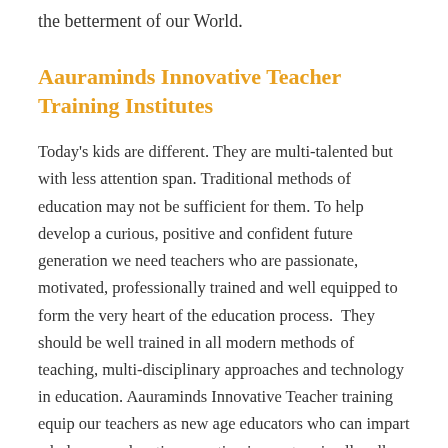the betterment of our World.
Aauraminds Innovative Teacher Training Institutes
Today's kids are different. They are multi-talented but with less attention span. Traditional methods of education may not be sufficient for them. To help develop a curious, positive and confident future generation we need teachers who are passionate, motivated, professionally trained and well equipped to form the very heart of the education process.  They should be well trained in all modern methods of teaching, multi-disciplinary approaches and technology in education. Aauraminds Innovative Teacher training equip our teachers as new age educators who can impart wholesome education, creating innovators in all walks of